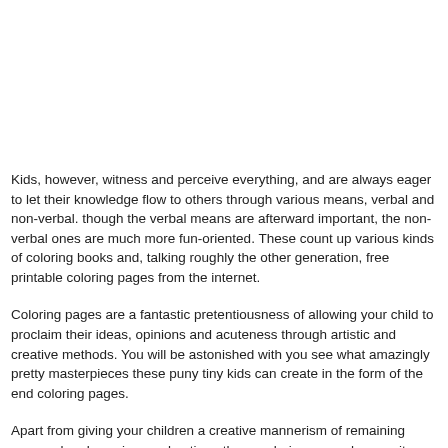Kids, however, witness and perceive everything, and are always eager to let their knowledge flow to others through various means, verbal and non-verbal. though the verbal means are afterward important, the non-verbal ones are much more fun-oriented. These count up various kinds of coloring books and, talking roughly the other generation, free printable coloring pages from the internet.
Coloring pages are a fantastic pretentiousness of allowing your child to proclaim their ideas, opinions and acuteness through artistic and creative methods. You will be astonished with you see what amazingly pretty masterpieces these puny tiny kids can create in the form of the end coloring pages.
Apart from giving your children a creative mannerism of remaining engaged and passing pardon time, these coloring pages have quite